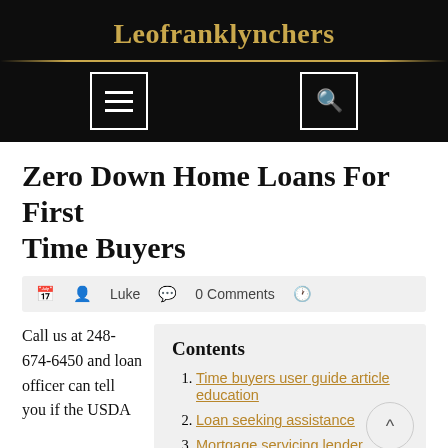Leofranklynchers
Zero Down Home Loans For First Time Buyers
Luke  0 Comments
Call us at 248-674-6450 and loan officer can tell you if the USDA
Contents
Time buyers user guide article education
Loan seeking assistance
Mortgage servicing lender